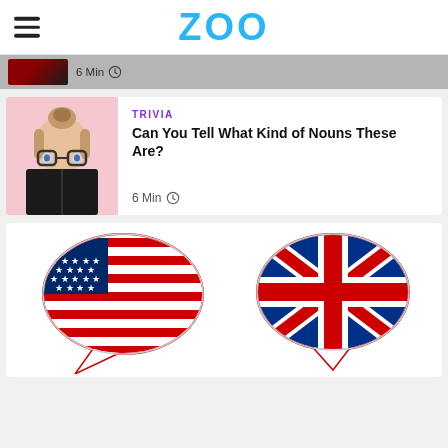ZOO
[Figure (screenshot): Previous article card strip showing a dark thumbnail and '6 Min' with clock icon]
[Figure (photo): Card with a woman reading a book with glasses, pink background]
TRIVIA
Can You Tell What Kind of Nouns These Are?
6 Min
[Figure (illustration): Two speech-bubble shaped flag icons: US flag and UK flag side by side]